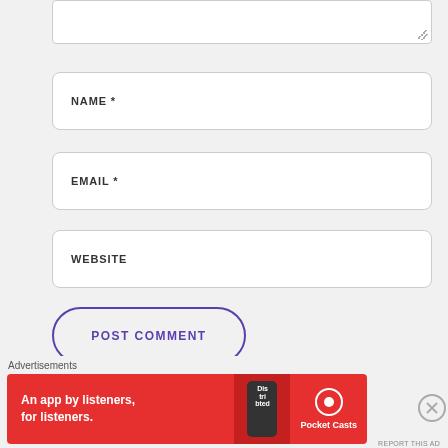[Figure (screenshot): Partial textarea (comment input box) at top of page, with resize handle at bottom-right corner]
NAME *
EMAIL *
WEBSITE
POST COMMENT
Notify me of new comments via email.
Advertisements
[Figure (screenshot): Pocket Casts advertisement banner: red background, text 'An app by listeners, for listeners.' with phone image and Pocket Casts logo]